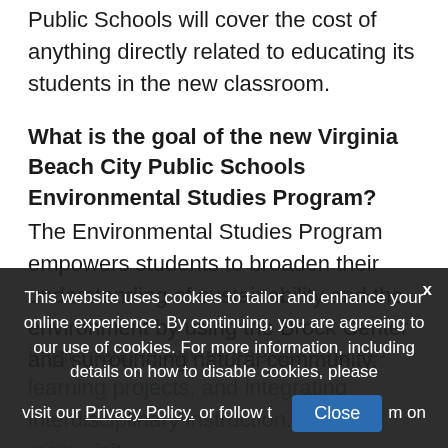Public Schools will cover the cost of anything directly related to educating its students in the new classroom.
What is the goal of the new Virginia Beach City Public Schools Environmental Studies Program?
The Environmental Studies Program empowers students to broaden their understanding of sustainability and the environment by using the Brock Center and surrounding natural community, implementing environmental service-learning projects, and integrating interdisciplinary instruction. To learn more visit...
This website uses cookies to tailor and enhance your online experience. By continuing, you are agreeing to our use of cookies. For more information, including details on how to disable cookies, please visit our Privacy Policy. or follow this link... m on